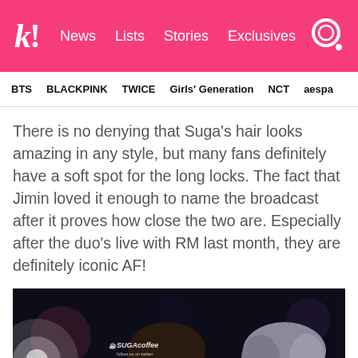k! News  Lists  Stories  Exclusives
BTS  BLACKPINK  TWICE  Girls' Generation  NCT  aespa
There is no denying that Suga’s hair looks amazing in any style, but many fans definitely have a soft spot for the long locks. The fact that Jimin loved it enough to name the broadcast after it proves how close the two are. Especially after the duo’s live with RM last month, they are definitely iconic AF!
[Figure (photo): Two people photographed at an event, one with dark brown hair and one with silver/grey hair, dark blurry background, SUGAcoffee watermark visible]